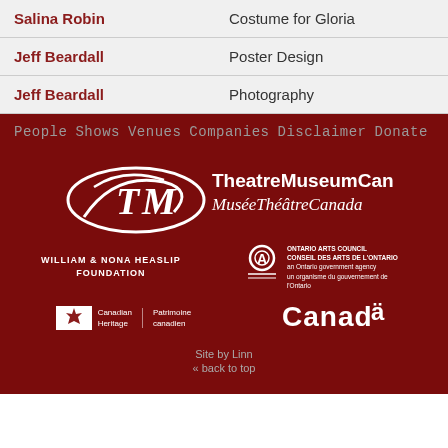| Name | Role |
| --- | --- |
| Salina Robin | Costume for Gloria |
| Jeff Beardall | Poster Design |
| Jeff Beardall | Photography |
People  Shows  Venues  Companies  Disclaimer  Donate
[Figure (logo): Theatre Museum Canada / Musée Théâtre Canada logo with stylized TM monogram]
[Figure (logo): William & Nona Heaslip Foundation logo (text only)]
[Figure (logo): Ontario Arts Council / Conseil des arts de l'Ontario logo with OA symbol]
[Figure (logo): Canadian Heritage / Patrimoine canadien logo with maple leaf flag symbol]
[Figure (logo): Canada wordmark logo]
Site by Linn
« back to top